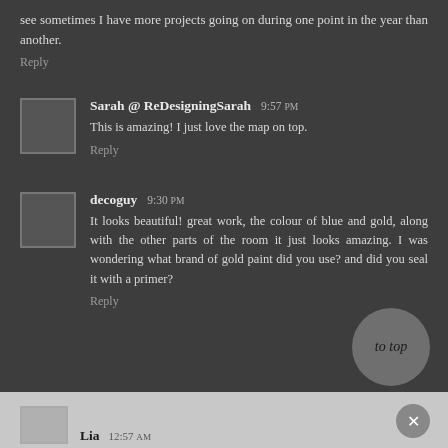see sometimes I have more projects going on during one point in the year than another.
Reply
Sarah @ ReDesigningSarah 9:57 PM
This is amazing! I just love the map on top.
Reply
decoguy 9:30 PM
It looks beautiful! great work, the colour of blue and gold, along with the other parts of the room it just looks amazing. I was wondering what brand of gold paint did you use? and did you seal it with a primer?
Reply
to top
Lia 12:57 AM